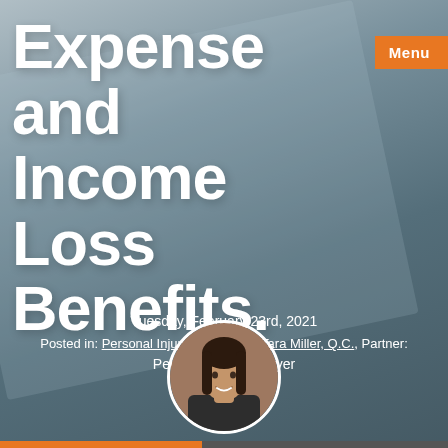Expense and Income Loss Benefits.
Menu
Tuesday, February 23rd, 2021
Posted in: Personal Injury Lawyers by Tara Miller, Q.C., Partner:
Personal Injury Lawyer
[Figure (photo): Circular portrait photo of Tara Miller, Q.C., a woman with long dark hair, smiling]